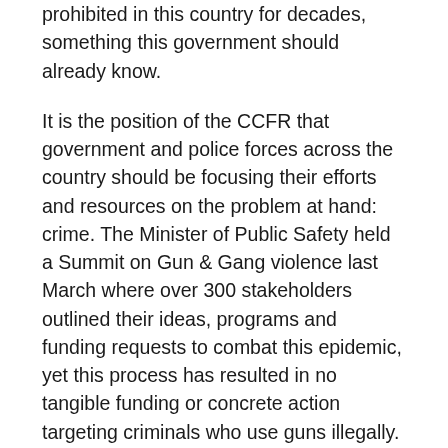prohibited in this country for decades, something this government should already know.
It is the position of the CCFR that government and police forces across the country should be focusing their efforts and resources on the problem at hand: crime. The Minister of Public Safety held a Summit on Gun & Gang violence last March where over 300 stakeholders outlined their ideas, programs and funding requests to combat this epidemic, yet this process has resulted in no tangible funding or concrete action targeting criminals who use guns illegally. This government also has repeatedly promised and re-announced a financial commitment to combat these issues, yet police services and the CBSA wait without any indication